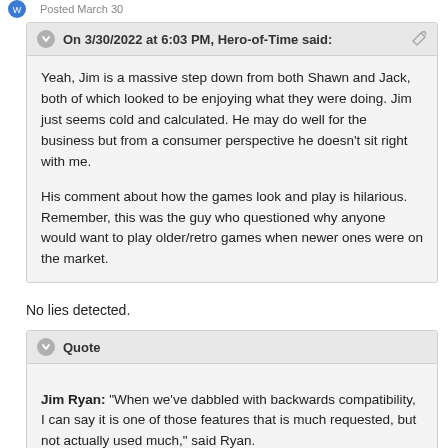Posted March 30
On 3/30/2022 at 6:03 PM, Hero-of-Time said:

Yeah, Jim is a massive step down from both Shawn and Jack, both of which looked to be enjoying what they were doing. Jim just seems cold and calculated. He may do well for the business but from a consumer perspective he doesn't sit right with me.

His comment about how the games look and play is hilarious. Remember, this was the guy who questioned why anyone would want to play older/retro games when newer ones were on the market.
No lies detected.
Quote

Jim Ryan: "When we've dabbled with backwards compatibility, I can say it is one of those features that is much requested, but not actually used much," said Ryan.